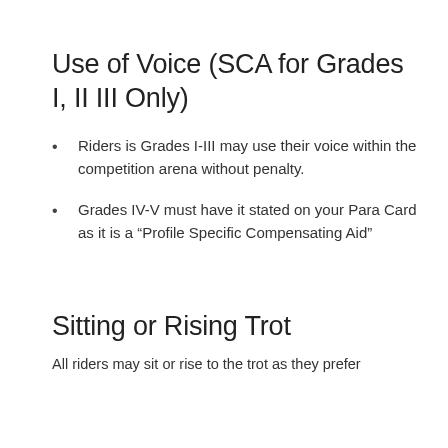Use of Voice (SCA for Grades I, II III Only)
Riders is Grades I-III may use their voice within the competition arena without penalty.
Grades IV-V must have it stated on your Para Card as it is a “Profile Specific Compensating Aid”
Sitting or Rising Trot
All riders may sit or rise to the trot as they prefer